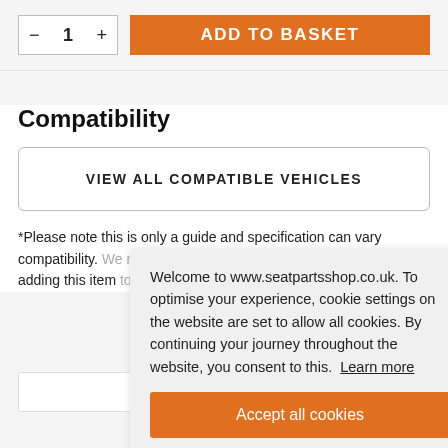- 1 + | ADD TO BASKET
Compatibility
VIEW ALL COMPATIBLE VEHICLES
*Please note this is only a guide and specification can vary compatibility. We recommend providing your vehicle details when adding this item to your basket
Welcome to www.seatpartsshop.co.uk. To optimise your experience, cookie settings on the website are set to allow all cookies. By continuing your journey throughout the website, you consent to this. Learn more
Accept all cookies
DESCRIPTION